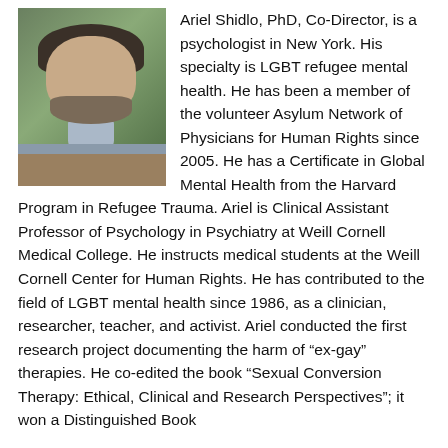[Figure (photo): Portrait photo of Ariel Shidlo, PhD — a man with dark hair and beard wearing a blue collared shirt and brown sweater, photographed outdoors against a green background.]
Ariel Shidlo, PhD, Co-Director, is a psychologist in New York. His specialty is LGBT refugee mental health. He has been a member of the volunteer Asylum Network of Physicians for Human Rights since 2005. He has a Certificate in Global Mental Health from the Harvard Program in Refugee Trauma. Ariel is Clinical Assistant Professor of Psychology in Psychiatry at Weill Cornell Medical College. He instructs medical students at the Weill Cornell Center for Human Rights. He has contributed to the field of LGBT mental health since 1986, as a clinician, researcher, teacher, and activist. Ariel conducted the first research project documenting the harm of "ex-gay" therapies. He co-edited the book "Sexual Conversion Therapy: Ethical, Clinical and Research Perspectives"; it won a Distinguished Book